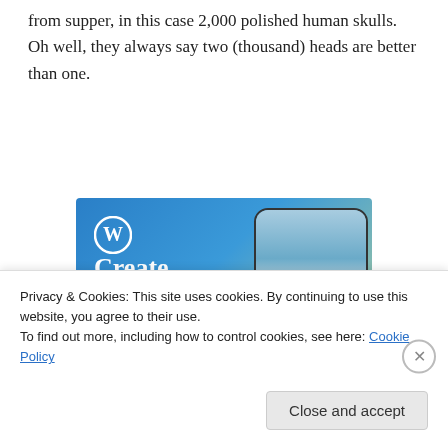from supper, in this case 2,000 polished human skulls. Oh well, they always say two (thousand) heads are better than one.
[Figure (illustration): WordPress advertisement showing the WordPress logo, text 'Create immersive stories.' on a blue-green gradient background, with a smartphone showing a waterfall photo labeled 'VISITING SKOGAFOSS']
Privacy & Cookies: This site uses cookies. By continuing to use this website, you agree to their use.
To find out more, including how to control cookies, see here: Cookie Policy
Close and accept